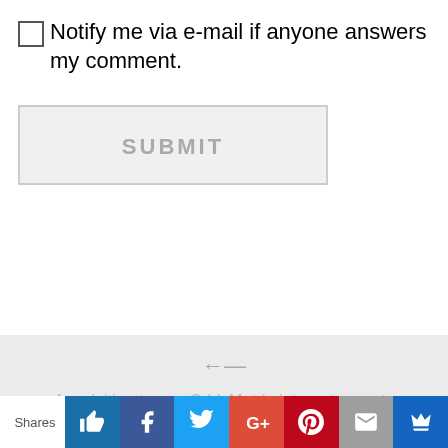☐Notify me via e-mail if anyone answers my comment.
SUBMIT
← Acquisition to see OddsMatrix integrate sports betting developer Leapbit's technology
→ Partypoker MILLIONS KO series concludes with Felipe Boianovsky winning the Main Event
Shares